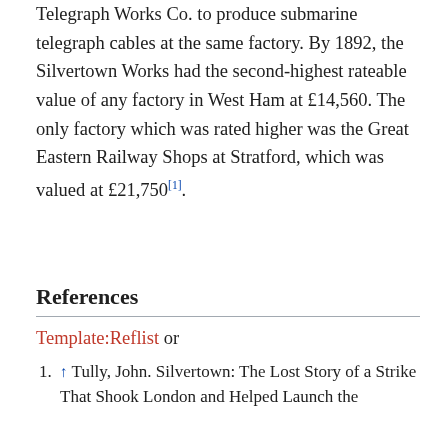Telegraph Works Co. to produce submarine telegraph cables at the same factory. By 1892, the Silvertown Works had the second-highest rateable value of any factory in West Ham at £14,560. The only factory which was rated higher was the Great Eastern Railway Shops at Stratford, which was valued at £21,750[1].
References
Template:Reflist or
↑ Tully, John. Silvertown: The Lost Story of a Strike That Shook London and Helped Launch the Modern Labour Movement. NYU Press, 2014.